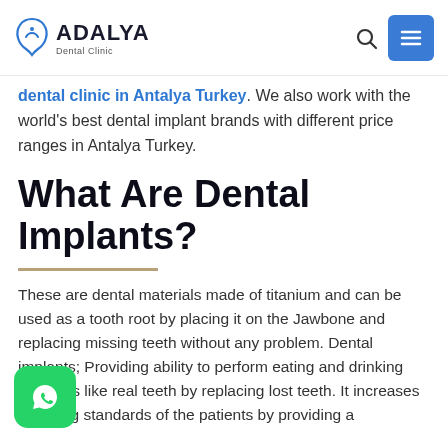ADALYA Dental Clinic
dental clinic in Antalya Turkey. We also work with the world's best dental implant brands with different price ranges in Antalya Turkey.
What Are Dental Implants?
These are dental materials made of titanium and can be used as a tooth root by placing it on the Jawbone and replacing missing teeth without any problem. Dental implants; Providing ability to perform eating and drinking functions like real teeth by replacing lost teeth. It increases the living standards of the patients by providing a